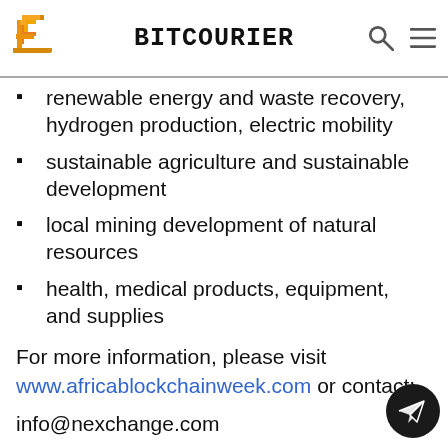BITCOURIER
renewable energy and waste recovery, hydrogen production, electric mobility
sustainable agriculture and sustainable development
local mining development of natural resources
health, medical products, equipment, and supplies
For more information, please visit www.africablockchainweek.com or contact:
info@nexchange.com
#Events